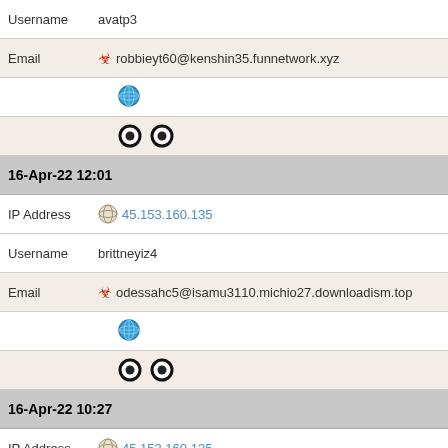Username   avatp3
Email  🔴 robbieyt60@kenshin35.funnetwork.xyz
[Figure (infographic): Globe icon row]
[Figure (infographic): Two Tor browser icons]
16-Apr-22 12:01
IP Address  🧅 45.153.160.135
Username   brittneyiz4
Email  🔴 odessahc5@isamu3110.michio27.downloadism.top
[Figure (infographic): Globe icon row]
[Figure (infographic): Two Tor browser icons]
16-Apr-22 10:27
IP Address  🧅 45.153.160.135
Username   eevqyyfcbf
Email  dm113dm@gmail.com  [ DM113.DM@GMAIL.COM ]
[Figure (infographic): Globe icon row]
[Figure (infographic): Two Tor browser icons]